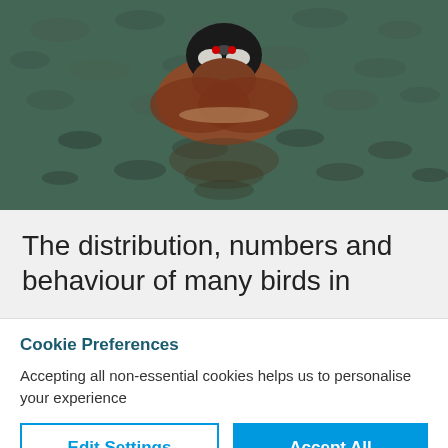[Figure (photo): A duck with reddish-brown plumage swimming on dark rippled water, photographed from above.]
The distribution, numbers and behaviour of many birds in
Cookie Preferences
Accepting all non-essential cookies helps us to personalise your experience
Edit Settings
Accept All